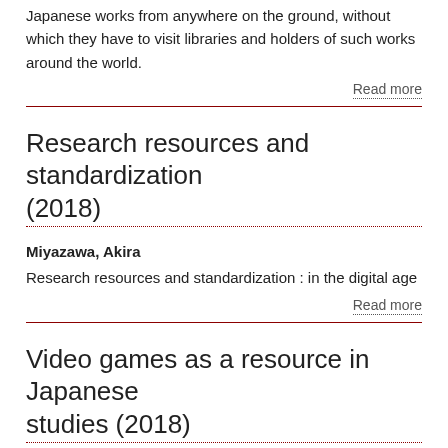Japanese works from anywhere on the ground, without which they have to visit libraries and holders of such works around the world.
Read more
Research resources and standardization (2018)
Miyazawa, Akira
Research resources and standardization : in the digital age
Read more
Video games as a resource in Japanese studies (2018)